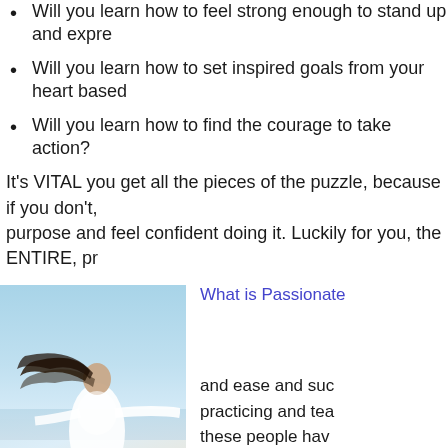Will you learn how to feel strong enough to stand up and expre...
Will you learn how to set inspired goals from your heart based...
Will you learn how to find the courage to take action?
It's VITAL you get all the pieces of the puzzle, because if you don't, purpose and feel confident doing it. Luckily for you, the ENTIRE, pr...
[Figure (photo): Woman in white dress on a beach with arms spread wide, hair blowing in the wind, sky and sea in background]
What is Passionate...
and ease and suc... practicing and tea... these people hav...